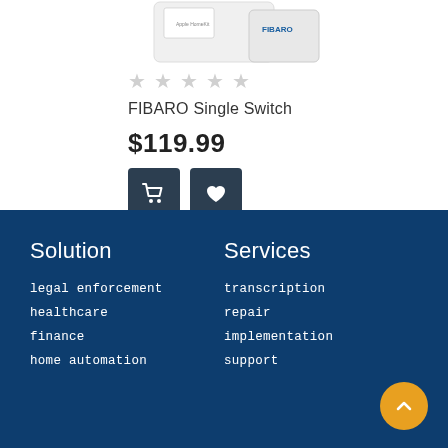[Figure (photo): Product image of FIBARO Single Switch device, white box with logo, partially cropped at top]
[Figure (other): 5 empty/unfilled star rating icons in light gray]
FIBARO Single Switch
$119.99
[Figure (other): Two dark square buttons: a shopping cart icon and a heart/wishlist icon]
Solution
legal enforcement
healthcare
finance
home automation
Services
transcription
repair
implementation
support